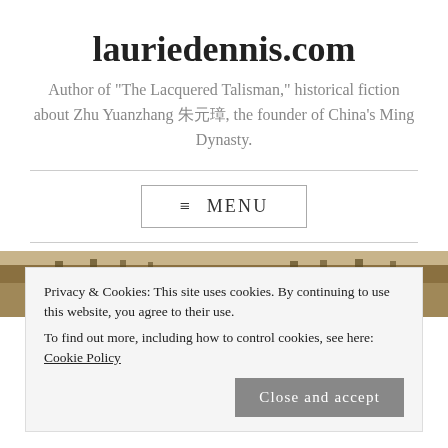lauriedennis.com
Author of "The Lacquered Talisman," historical fiction about Zhu Yuanzhang 朱元璋, the founder of China's Ming Dynasty.
≡ MENU
[Figure (photo): Outdoor landscape photo, appears to show a field or pathway with trees, brown/tan tones.]
Privacy & Cookies: This site uses cookies. By continuing to use this website, you agree to their use.
To find out more, including how to control cookies, see here: Cookie Policy
Close and accept